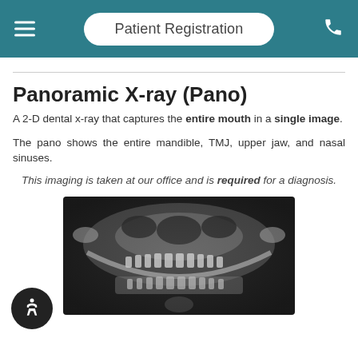Patient Registration
Panoramic X-ray (Pano)
A 2-D dental x-ray that captures the entire mouth in a single image.
The pano shows the entire mandible, TMJ, upper jaw, and nasal sinuses.
This imaging is taken at our office and is required for a diagnosis.
[Figure (photo): Panoramic dental X-ray showing full mouth including mandible, teeth, TMJ, upper jaw, and nasal sinuses in black and white radiograph]